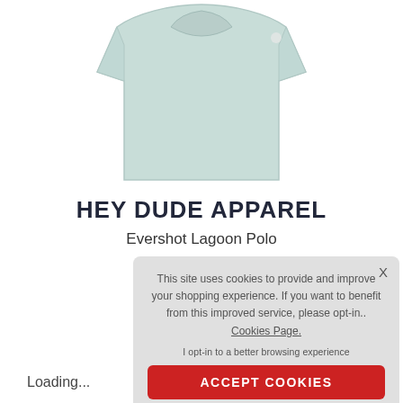[Figure (photo): Light mint/seafoam green folded polo shirt on white background]
HEY DUDE APPAREL
Evershot Lagoon Polo
This site uses cookies to provide and improve your shopping experience. If you want to benefit from this improved service, please opt-in.. Cookies Page.
I opt-in to a better browsing experience
ACCEPT COOKIES
Loading...